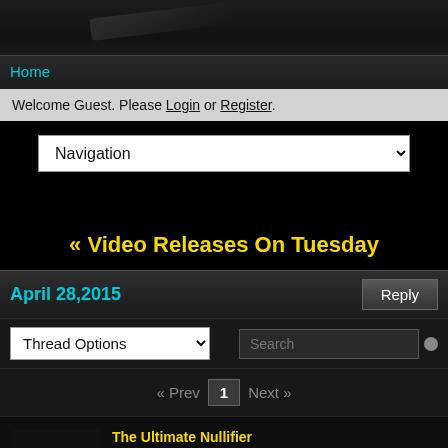Home
Welcome Guest. Please Login or Register.
[Figure (screenshot): Navigation dropdown selector]
« Video Releases On Tuesday
April 28,2015
Thread Options dropdown and Search box with pagination: « Prev 1 Next »
The Ultimate Nullifier
Administrator
★★★★★
Apr 27, 2015 at 1:56pm